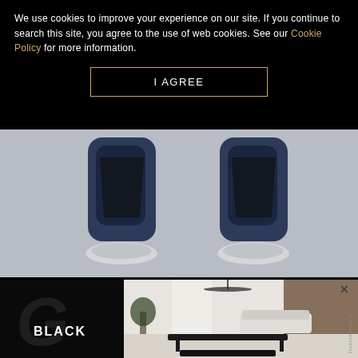We use cookies to improve your experience on our site. If you continue to search this site, you agree to the use of web cookies. See our Cookie Policy for more information.
I AGREE
[Figure (photo): Close-up photo of two blue and silver speaker stands or audio equipment legs on a grey surface]
Luxury Toys - Gadgets
BUGATTI ROYALE - FOR THOSE WHO ONLY CHOOSE THE BEST
BUGATTI and TIDAL Audio are united in a shared philosophy: to strive fo... exceptio...
[Figure (advertisement): Two overlapping advertisement overlays: left shows a dark ad with 'BLACK' text and a large G/D logo watermark; right shows a fusiontables ad with a modern interior living room with a black table and bench]
fusiontables